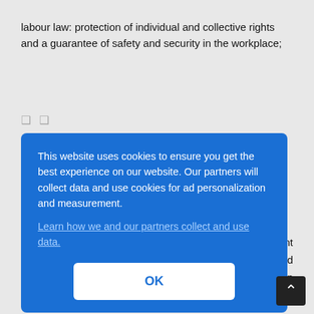labour law: protection of individual and collective rights and a guarantee of safety and security in the workplace;
❑ ❑
the fight against various forms of discrimination; Several Belgian provinces have benefited from EU funds to support their development initiatives or to assist in their economic conversion (specifically Hainaut, ... nt ... nt and ... ction ... g ... s and ... oblems
[Figure (screenshot): Cookie consent overlay with blue background. Text reads: 'This website uses cookies to ensure you get the best experience on our website. Our partners will collect data and use cookies for ad personalization and measurement.' with a link 'Learn how we and our partners collect and use data.' and an OK button.]
change and greenhouse gases. Specific results: